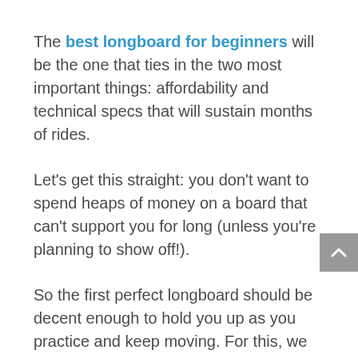The best longboard for beginners will be the one that ties in the two most important things: affordability and technical specs that will sustain months of rides.
Let's get this straight: you don't want to spend heaps of money on a board that can't support you for long (unless you're planning to show off!).
So the first perfect longboard should be decent enough to hold you up as you practice and keep moving. For this, we recommend top longboard brands such as Arbor, Loaded, Playshion, Quest, Volador, etc.